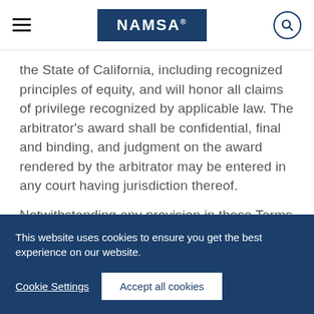NAMSA
the State of California, including recognized principles of equity, and will honor all claims of privilege recognized by applicable law. The arbitrator’s award shall be confidential, final and binding, and judgment on the award rendered by the arbitrator may be entered in any court having jurisdiction thereof.
Notwithstanding any provision in these Terms of Use to the contrary, we may
This website uses cookies to ensure you get the best experience on our website.
Cookie Settings
Accept all cookies